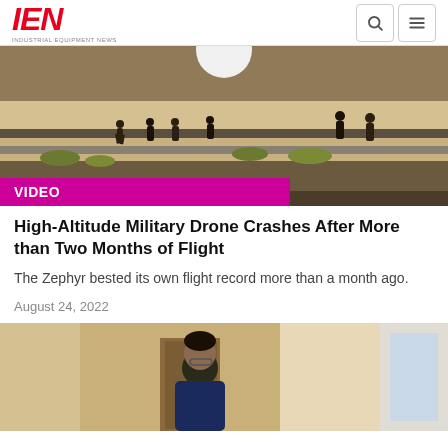IEN INDUSTRIAL EQUIPMENT NEWS
[Figure (photo): People walking along an airfield tarmac with a military drone visible in background; VIDEO badge overlay]
High-Altitude Military Drone Crashes After More than Two Months of Flight
The Zephyr bested its own flight record more than a month ago.
August 24, 2022
[Figure (photo): Man in navy blue shirt looking down, standing in a hallway or corridor]